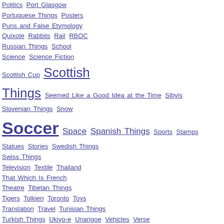Politics  Port Glasgow  Portuguese Things  Posters  Puns and False Etymology  Quixote  Rabbits  Rail  RBOC  Russian Things  School  Science  Science Fiction  Scottish Cup  Scottish Things  Seemed Like a Good Idea at the Time  Sibyls  Slovenian Things  Snow  Soccer  Space  Spanish Things  Sports  Stamps  Statues  Stories  Swedish Things  Swiss Things  Television  Textile  Thailand  That Which Is French  Theatre  Tibetan Things  Tigers  Tolkien  Toronto  Toys  Translation  Travel  Tunisian Things  Turkish Things  Ukiyo-e  Unarigoe  Vehicles  Verse  Volcanoes  Web/Tech  Welsh Things  Winnipeg  Yellow
The Door Repair Guy: "His mission: to m... proximity-activated entranceways, to sta... service conduits -- to boldly go where no gone before."
Deep Space Nine space station drifts... shoots past, revealing the words:
Star Trek: Door Repair Guy
Starring
Door Repair Guy as Himself
James Earl Jones as
The Judge Advocate General